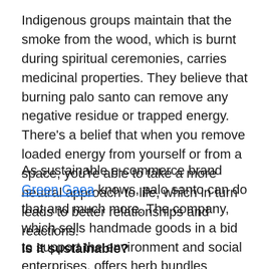Indigenous groups maintain that the smoke from the wood, which is burnt during spiritual ceremonies, carries medicinal properties. They believe that burning palo santo can remove any negative residue or trapped energy. There's a belief that when you remove loaded energy from yourself or from a space, you're able to take a more neutral approach to life, which in turn leads to better relationships and reactions.
As sustainable e-commerce brand Green Gaea knows, palo santo can do that and much more. The company, which sells handmade goods in a bid to support the environment and social enterprises, offers herb bundles featuring palo santo, and cite the sacred wood as a promoter of positive, joyful feelings.
Is it sustainable?